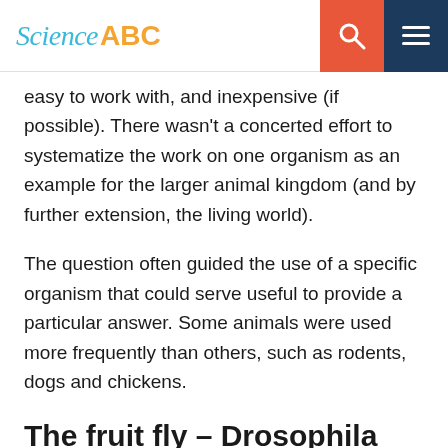Science ABC
easy to work with, and inexpensive (if possible). There wasn’t a concerted effort to systematize the work on one organism as an example for the larger animal kingdom (and by further extension, the living world).
The question often guided the use of a specific organism that could serve useful to provide a particular answer. Some animals were used more frequently than others, such as rodents, dogs and chickens.
The fruit fly – Drosophila